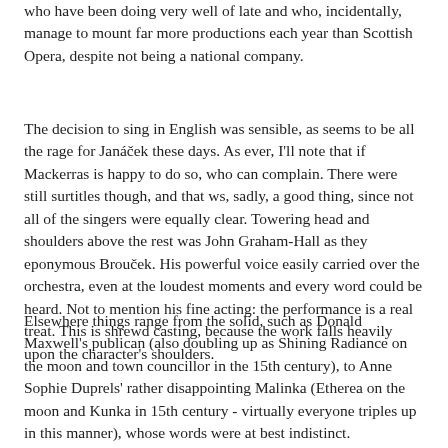who have been doing very well of late and who, incidentally, manage to mount far more productions each year than Scottish Opera, despite not being a national company.
The decision to sing in English was sensible, as seems to be all the rage for Janáček these days. As ever, I'll note that if Mackerras is happy to do so, who can complain. There were still surtitles though, and that ws, sadly, a good thing, since not all of the singers were equally clear. Towering head and shoulders above the rest was John Graham-Hall as they eponymous Brouček. His powerful voice easily carried over the orchestra, even at the loudest moments and every word could be heard. Not to mention his fine acting: the performance is a real treat. This is shrewd casting, because the work falls heavily upon the character's shoulders.
Elsewhere things range from the solid, such as Donald Maxwell's publican (also doubling up as Shining Radiance on the moon and town councillor in the 15th century), to Anne Sophie Duprels' rather disappointing Malinka (Etherea on the moon and Kunka in 15th century - virtually everyone triples up in this manner), whose words were at best indistinct.